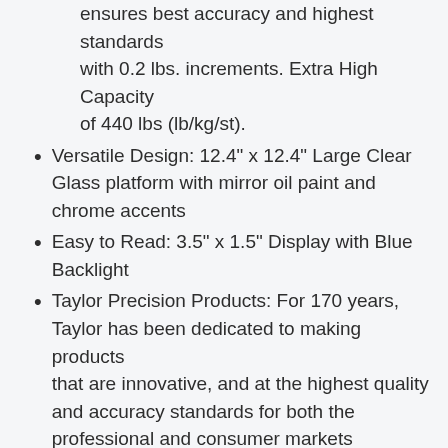ensures best accuracy and highest standards with 0.2 lbs. increments. Extra High Capacity of 440 lbs (lb/kg/st).
Versatile Design: 12.4" x 12.4" Large Clear Glass platform with mirror oil paint and chrome accents
Easy to Read: 3.5" x 1.5" Display with Blue Backlight
Taylor Precision Products: For 170 years, Taylor has been dedicated to making products that are innovative, and at the highest quality and accuracy standards for both the professional and consumer markets
USA Based: In house design, marketing, engineering, and customer service teams.
3   Beurer PS25 Personal